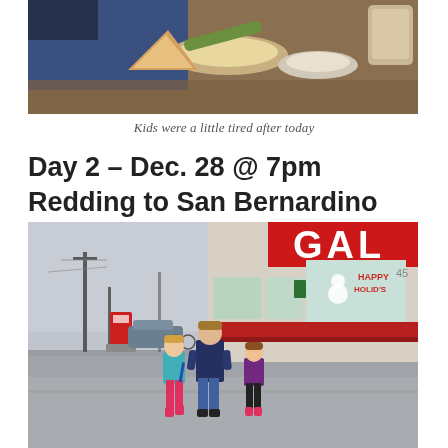[Figure (photo): Top portion of a photo showing a messy dining table with food remains, dishes, and a phone visible; partially cropped at top]
Kids were a little tired after today
Day 2 – Dec. 28 @ 7pm
Redding to San Bernardino
[Figure (photo): A man and two young girls walking in a parking lot in front of a strip mall with a red and white storefront. A 'GAL' sign is visible on the building. The store window has holiday decorations. Power lines and poles visible in the background on the left.]